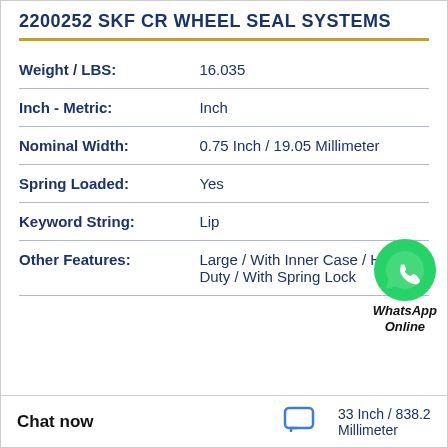2200252 SKF CR WHEEL SEAL SYSTEMS
| Property | Value |
| --- | --- |
| Weight / LBS: | 16.035 |
| Inch - Metric: | Inch |
| Nominal Width: | 0.75 Inch / 19.05 Millimeter |
| Spring Loaded: | Yes |
| Keyword String: | Lip |
| Other Features: | Large / With Inner Case / Heavy Duty / With Spring Lock |
[Figure (logo): WhatsApp Online green circle badge with phone icon and text 'WhatsApp Online']
Chat now
33 Inch / 838.2 Millimeter